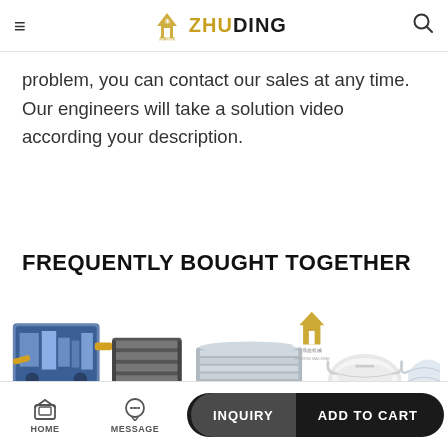≡  ZHUDING  🔍
problem, you can contact our sales at any time. Our engineers will take a solution video according your description.
FREQUENTLY BOUGHT TOGETHER
[Figure (photo): Product images showing industrial machines and face masks arranged horizontally]
HOME  MESSAGE  INQUIRY  ADD TO CART